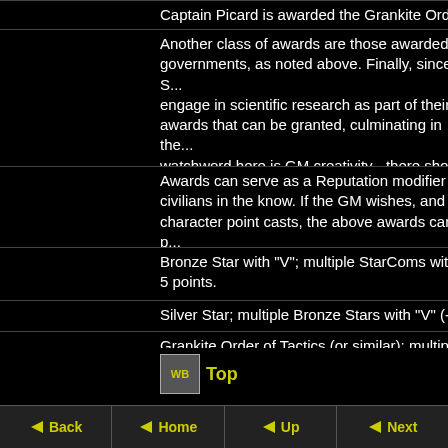Captain Picard is awarded the Grankite Orde...
Another class of awards are those awarded by governments, as noted above. Finally, since S... engage in scientific research as part of their c... awards that can be granted, culminating in the... watchword here is GM creativity - there shou... awards as they desire.
Awards can serve as a Reputation modifier a... civilians in the know. If the GM wishes, and th... character point casts, the above awards can p...
Bronze Star with "V"; multiple StarComs with ... 5 points.
Silver Star; multiple Bronze Stars with "V" (+2...
Grankite Order of Tactics (or similar); multiple...
Medal of Honor; Nobel Peace Price (+4 react...
[Figure (other): WB icon with Top link]
Back | Home | Up | Next